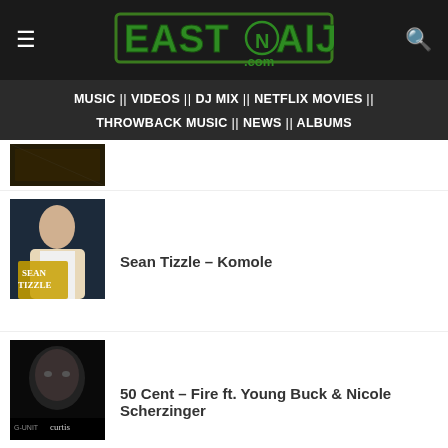EastNaija.com
MUSIC || VIDEOS || DJ MIX || NETFLIX MOVIES || THROWBACK MUSIC || NEWS || ALBUMS
[Figure (photo): Partial album art thumbnail at top]
Sean Tizzle – Komole
[Figure (photo): Sean Tizzle album cover]
50 Cent – Fire ft. Young Buck & Nicole Scherzinger
[Figure (photo): 50 Cent Curtis album cover]
G-Unit – G-Unit
[Figure (photo): G-Unit album cover]